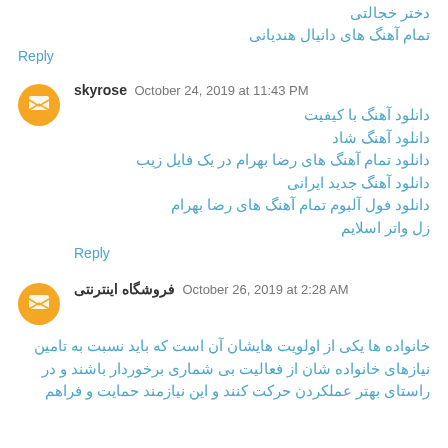دختر خجالتی
تمام آهنگ های دانیال هندیانی
Reply
skyrose  October 24, 2019 at 11:43 PM
دانلود آهنگ با کیفیت
دانلود آهنگ شاد
دانلود تمام آهنگ های رضا بهرام در یک فایل زیب
دانلود آهنگ جدید ایرانی
دانلود فول آلبوم تمام آهنگ های رضا بهرام
زل واتر اسلایم
Reply
فروشگاه اینترنتی  October 26, 2019 at 2:28 AM
خانواده ها یکی از اولویت هایشان آن است که باید نسبت به تامین نیازهای خانواده شان از فعالیت بی شماری برخوردار باشند و در راستای بهتر عملکردن حرکت کنند و این نیازمند حمایت و فراهم